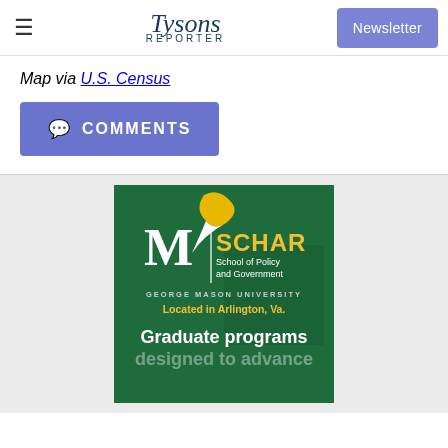Tysons Reporter | Newsletter
Map via U.S. Census
💬 COMMENTS
[Figure (illustration): Advertisement for George Mason University Schar School of Policy and Government, located in Arlington, Va. Features the school logo with a feather/M emblem, text 'SCHAR School of Policy and Government', 'GEORGE MASON UNIVERSITY', 'Located in Arlington, Va.', and 'Graduate programs designed to advance' on a green background.]